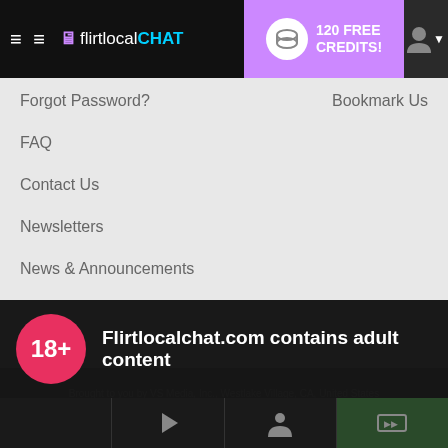flirtlocalCHAT — 120 FREE CREDITS!
Forgot Password?
Bookmark Us
FAQ
Contact Us
Newsletters
News & Announcements
Brought to you by VS Media, Inc., Westlake Village, CA, United States FBP Media s.r.o. (Reg. 06483453 ), Vodickova 791/41 Nove Mesto, 110 00 Praha 1, Czech Republic
Flirtlocalchat.com contains adult content
By using the site, you acknowledge you have read our Privacy Policy, and agree to our Terms and Conditions.
We use cookies to optimize your experience, analyze traffic, and deliver more personalized service. To learn more, please see our Privacy Policy.
I AGREE